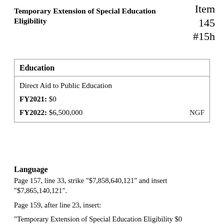Temporary Extension of Special Education Eligibility
Item
145
#15h
| Education |
| --- |
| Direct Aid to Public Education |  |
| FY2021: $0 |  |
| FY2022: $6,500,000 | NGF |
Language
Page 157, line 33, strike "$7,858,640,121" and insert "$7,865,140,121".
Page 159, after line 23, insert:
"Temporary Extension of Special Education Eligibility $0 $6,500,000".